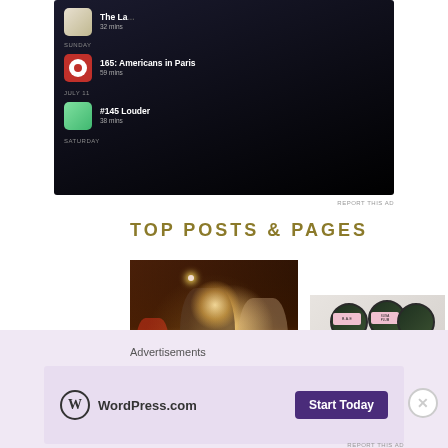[Figure (screenshot): Phone screenshot showing a podcast app with dark background listing episodes including 'The La...', '165: Americans in Paris', '#145 Louder', with days labeled Sunday, July 11, Saturday]
REPORT THIS AD
TOP POSTS & PAGES
[Figure (photo): Three women smiling and laughing, one holding sparklers, nighttime outdoor setting]
[Figure (photo): Multiple dark green circular cosmetic jars with pink labels including B.A.E branding, arranged on marble surface]
[Figure (photo): Grayscale close-up of hands]
[Figure (photo): Person in dark glove against orange-red sunset background]
Advertisements
[Figure (screenshot): WordPress.com advertisement banner with logo and 'Start Today' button on light purple background]